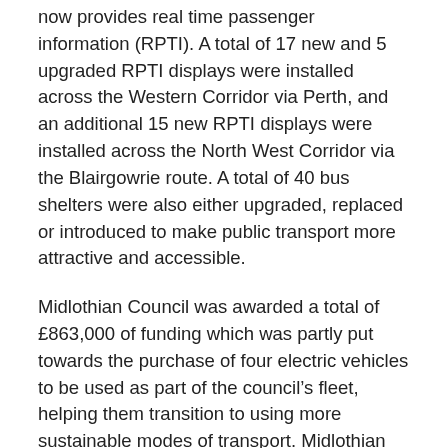now provides real time passenger information (RPTI). A total of 17 new and 5 upgraded RPTI displays were installed across the Western Corridor via Perth, and an additional 15 new RPTI displays were installed across the North West Corridor via the Blairgowrie route. A total of 40 bus shelters were also either upgraded, replaced or introduced to make public transport more attractive and accessible.
Midlothian Council was awarded a total of £863,000 of funding which was partly put towards the purchase of four electric vehicles to be used as part of the council's fleet, helping them transition to using more sustainable modes of transport. Midlothian Council also installed rapid electrical chargers at Sheriffhall Park and Ride, meaning that Midlothian residents now have greater access to electric vehicle charging points. A study into the feasibility of various proposed park and ride locations was also commissioned, with a total of three